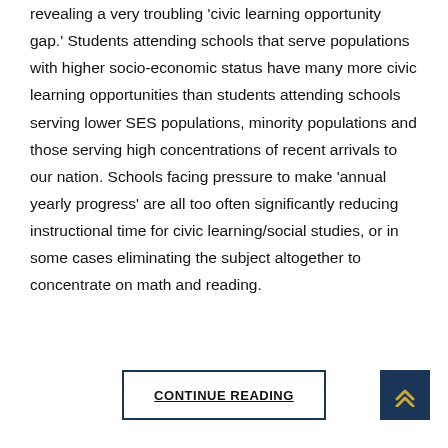revealing a very troubling 'civic learning opportunity gap.' Students attending schools that serve populations with higher socio-economic status have many more civic learning opportunities than students attending schools serving lower SES populations, minority populations and those serving high concentrations of recent arrivals to our nation. Schools facing pressure to make 'annual yearly progress' are all too often significantly reducing instructional time for civic learning/social studies, or in some cases eliminating the subject altogether to concentrate on math and reading.
CONTINUE READING